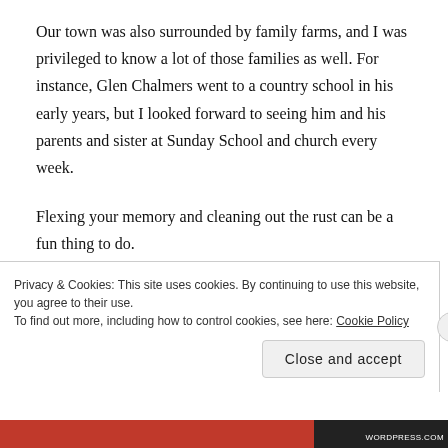Our town was also surrounded by family farms, and I was privileged to know a lot of those families as well. For instance, Glen Chalmers went to a country school in his early years, but I looked forward to seeing him and his parents and sister at Sunday School and church every week.
Flexing your memory and cleaning out the rust can be a fun thing to do.
Dave Thomas
3/3/2021
Privacy & Cookies: This site uses cookies. By continuing to use this website, you agree to their use.
To find out more, including how to control cookies, see here: Cookie Policy
Close and accept